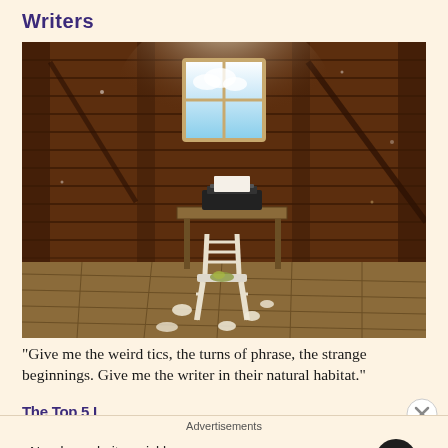Writers
[Figure (photo): Interior of a rustic wooden barn with horizontal plank walls, a small window letting in light, a white wooden chair in front of a desk with a typewriter, and crumpled papers scattered on the wooden floor.]
“Give me the weird tics, the turns of phrase, the strange beginnings. Give me the writer in their natural habitat.”
The Top 5 [rest cut off]
Advertisements
Need a website quickly – and on a budget?